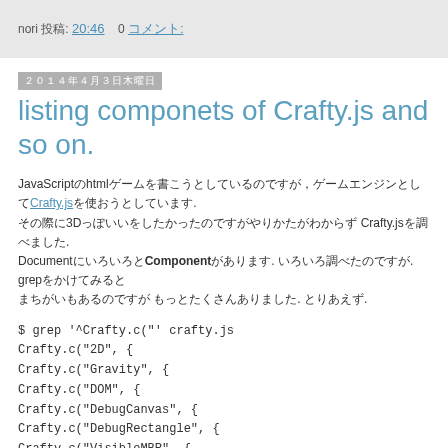nori 投稿: 20:46   0 コメント:
2014年4月3日木曜日
listing componets of Crafty.js and so on.
JavaScriptのhtmlゲームを書こうとしているのですが，ゲームエンジンとしてCrafty.jsを使おうとしています.その際に3Dっぽいいをしたかったのですがやりかたがわからず Crafty.jsを調べました.DocumentにいろいろとComponentがあります. いろいろ調べたのですが. grepをかけてみるとまちがいもあるのですが，もっとたくさんありました. とりあえず.
$ grep '^Crafty.c("' crafty.js
Crafty.c("2D", {
Crafty.c("Gravity", {
Crafty.c("DOM", {
Crafty.c("DebugCanvas", {
Crafty.c("DebugRectangle", {
Crafty.c("VisibleMBR", {
Crafty.c("DebugPolygon", {
Crafty.c("WiredHitBox", {
Crafty.c("SolidHitBox", {